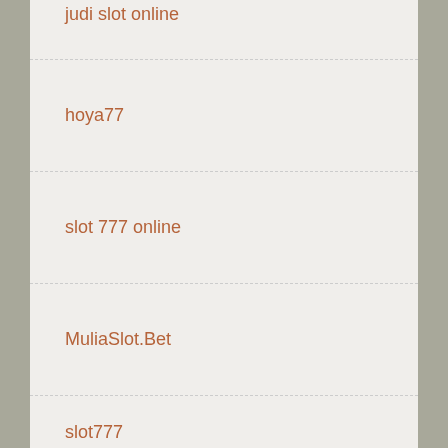judi slot online
hoya77
slot 777 online
MuliaSlot.Bet
slot777